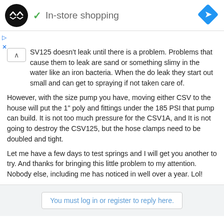[Figure (logo): Black circular logo with double arrow symbol, green checkmark, 'In-store shopping' text, and blue diamond navigation icon on the right]
SV125 doesn't leak until there is a problem. Problems that cause them to leak are sand or something slimy in the water like an iron bacteria. When the do leak they start out small and can get to spraying if not taken care of.
However, with the size pump you have, moving either CSV to the house will put the 1" poly and fittings under the 185 PSI that pump can build. It is not too much pressure for the CSV1A, and It is not going to destroy the CSV125, but the hose clamps need to be doubled and tight.
Let me have a few days to test springs and I will get you another to try. And thanks for bringing this little problem to my attention. Nobody else, including me has noticed in well over a year. Lol!
You must log in or register to reply here.